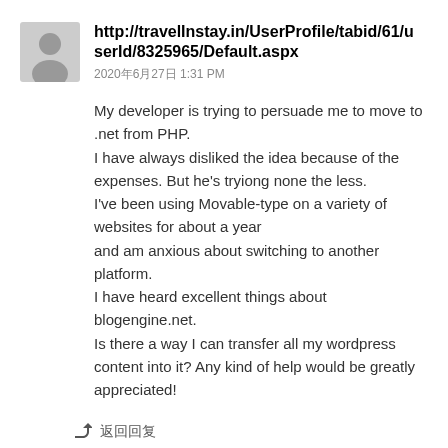http://travelInstay.in/UserProfile/tabid/61/userId/8325965/Default.aspx
2020年6月27日 1:31 PM
My developer is trying to persuade me to move to .net from PHP. I have always disliked the idea because of the expenses. But he's tryiong none the less. I've been using Movable-type on a variety of websites for about a year and am anxious about switching to another platform. I have heard excellent things about blogengine.net. Is there a way I can transfer all my wordpress content into it? Any kind of help would be greatly appreciated!
↩ 返回回复